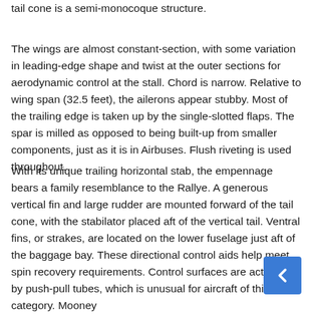tail cone is a semi-monocoque structure.
The wings are almost constant-section, with some variation in leading-edge shape and twist at the outer sections for aerodynamic control at the stall. Chord is narrow. Relative to wing span (32.5 feet), the ailerons appear stubby. Most of the trailing edge is taken up by the single-slotted flaps. The spar is milled as opposed to being built-up from smaller components, just as it is in Airbuses. Flush riveting is used throughout.
With its unique trailing horizontal stab, the empennage bears a family resemblance to the Rallye. A generous vertical fin and large rudder are mounted forward of the tail cone, with the stabilator placed aft of the vertical tail. Ventral fins, or strakes, are located on the lower fuselage just aft of the baggage bay. These directional control aids help meet spin recovery requirements. Control surfaces are actuated by push-pull tubes, which is unusual for aircraft of this category. Mooney